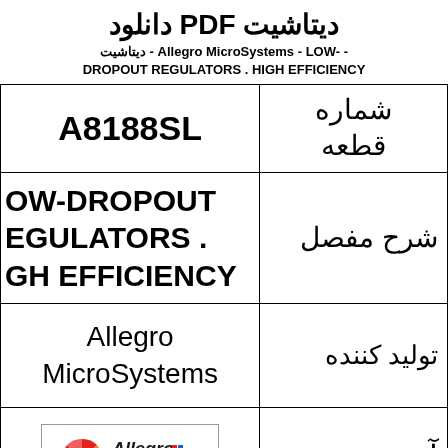دیتاشیت PDF دانلود
دیتاشیت - Allegro MicroSystems - LOW- - DROPOUT REGULATORS . HIGH EFFICIENCY
| شماره قطعه | part number / description / manufacturer / logo |
| --- | --- |
| شماره قطعه | A8188SL |
| شرح مفصل | LOW-DROPOUT REGULATORS . HIGH EFFICIENCY |
| تولید کننده | Allegro MicroSystems |
| آرم | [Allegro MicroSystems logo] |